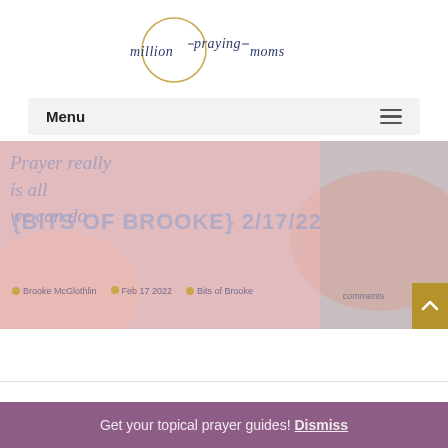[Figure (logo): Million Praying Moms logo - cursive script text inside a thin gold circle]
Menu
[Figure (photo): Hero banner image showing hands with a pink sticky note with handwriting 'Prayer really is all we can do', overlaid with blog post title and metadata]
{BITS OF BROOKE} 2/17/22
Brooke McGlothlin   Feb 17 2022   Bits of Brooke   comments
Get your topical prayer guides! Dismiss